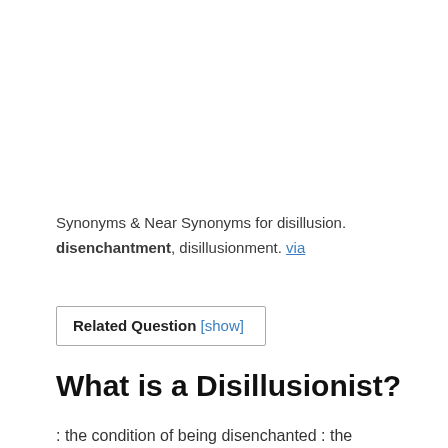Synonyms & Near Synonyms for disillusion. disenchantment, disillusionment. via
Related Question [show]
What is a Disillusionist?
: the condition of being disenchanted : the condition of being dissatisfied or defeated in expectation or